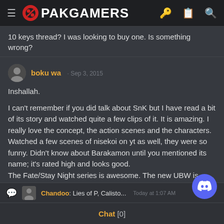PAKGAMERS
10 keys thread? I was looking to buy one. Is something wrong?
boku wa · Sep 3, 2015
Inshallah.

I can't remember if you did talk about SnK but I have read a bit of its story and watched quite a few clips of it. It is amazing. I really love the concept, the action scenes and the characters. Watched a few scenes of nisekoi on yt as well, they were so funny. Didn't know about Barakamon until you mentioned its name; it's rated high and looks good.
The Fate/Stay Night series is awesome. The new UBW is amazing.
Chandoo: Lies of P, Calisto... Today at 1:07 AM
Chat [0]